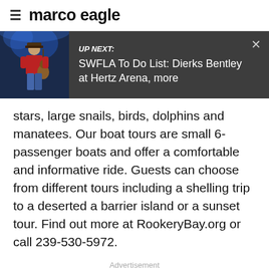marco eagle
[Figure (screenshot): UP NEXT banner with photo of a guitar-playing performer on stage with blue stage lighting. Text reads: UP NEXT: SWFLA To Do List: Dierks Bentley at Hertz Arena, more]
stars, large snails, birds, dolphins and manatees. Our boat tours are small 6-passenger boats and offer a comfortable and informative ride. Guests can choose from different tours including a shelling trip to a deserted a barrier island or a sunset tour. Find out more at RookeryBay.org or call 239-530-5972.
Advertisement